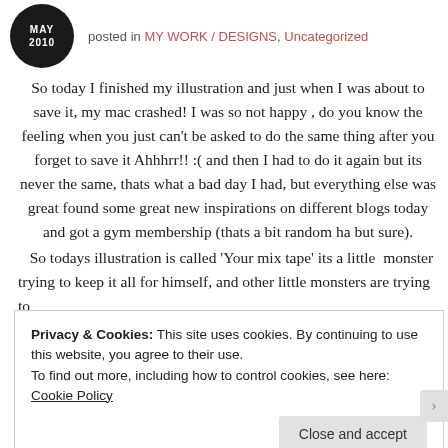posted in MY WORK / DESIGNS, Uncategorized
So today I finished my illustration and just when I was about to save it, my mac crashed! I was so not happy , do you know the feeling when you just can't be asked to do the same thing after you forget to save it Ahhhrr!! :( and then I had to do it again but its never the same, thats what a bad day I had, but everything else was great found some great new inspirations on different blogs today and got a gym membership (thats a bit random ha but sure).
So todays illustration is called 'Your mix tape' its a little monster trying to keep it all for himself, and other little monsters are trying to
Privacy & Cookies: This site uses cookies. By continuing to use this website, you agree to their use.
To find out more, including how to control cookies, see here: Cookie Policy
Close and accept